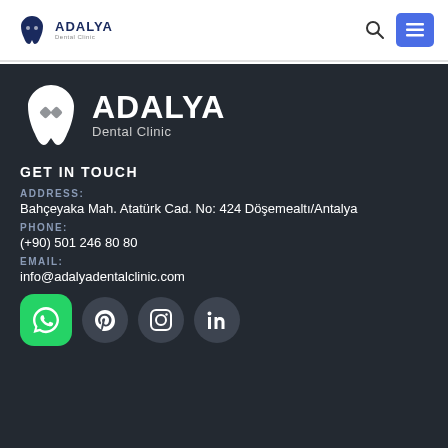ADALYA Dental Clinic
[Figure (logo): Adalya Dental Clinic logo - large white tooth with diamond shapes, white text ADALYA Dental Clinic on dark background]
GET IN TOUCH
ADDRESS:
Bahçeyaka Mah. Atatürk Cad. No: 424 Döşemealtı/Antalya
PHONE:
(+90) 501 246 80 80
EMAIL:
info@adalyadentalclinic.com
[Figure (infographic): Social media icons: WhatsApp (green), Pinterest (dark circle), Instagram (dark circle), LinkedIn (dark circle)]